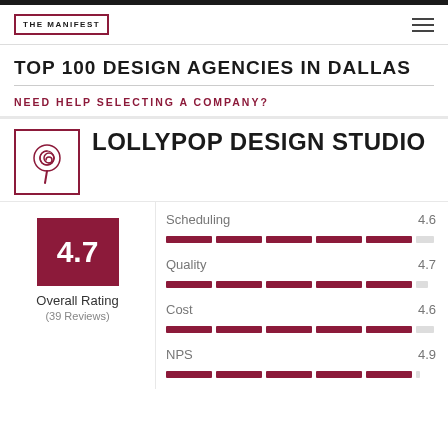THE MANIFEST
TOP 100 DESIGN AGENCIES IN DALLAS
NEED HELP SELECTING A COMPANY?
LOLLYPOP DESIGN STUDIO
[Figure (logo): Lollypop Design Studio lollipop icon in a bordered square]
4.7
Overall Rating
(39 Reviews)
[Figure (bar-chart): Rating metrics]